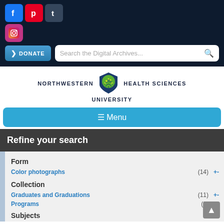Northwestern Health Sciences University digital archives header with social media icons (Facebook, Pinterest, Tumblr, Instagram), Donate button, and Search the Digital Archives... search bar
[Figure (logo): Northwestern Health Sciences University logo with shield/tree emblem]
☰ Menu
Refine your search
Form
Color photographs (14) +-
Collection
Graduates and Graduations (11) +-
Programs (3) +-
Subjects